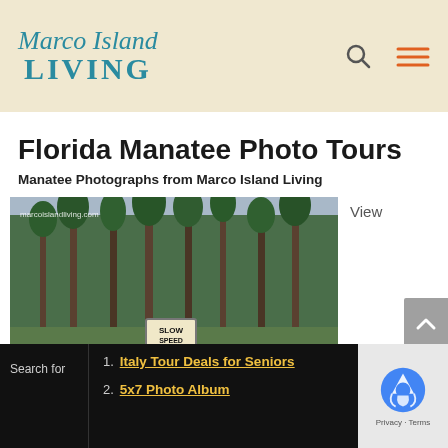Marco Island LIVING
Florida Manatee Photo Tours
Manatee Photographs from Marco Island Living
[Figure (photo): Outdoor forest scene with pine trees and a SLOW SPEED sign, watermarked with marcoislandliving.com]
View
Search for
1. Italy Tour Deals for Seniors
2. 5x7 Photo Album
[Figure (logo): reCAPTCHA logo with Privacy - Terms text]